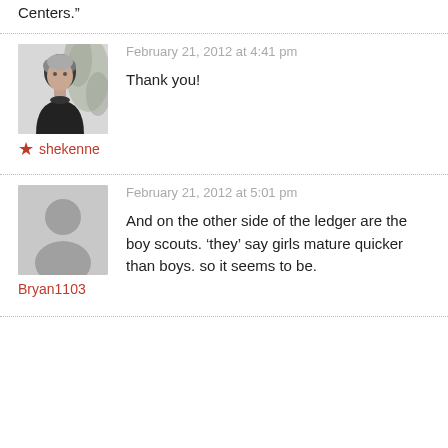Centers.”
February 21, 2012 at 4:41 pm
[Figure (photo): Profile photo of user shekenne: older person in dark clothing against a light background with plant shapes]
Thank you!
★ shekenne
February 21, 2012 at 5:01 pm
[Figure (photo): Generic gray avatar placeholder with silhouette of a person]
And on the other side of the ledger are the boy scouts. ‘they’ say girls mature quicker than boys. so it seems to be.
Bryan1103